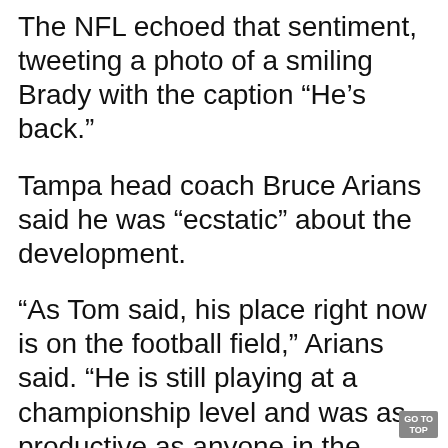The NFL echoed that sentiment, tweeting a photo of a smiling Brady with the caption “He’s back.”
Tampa head coach Bruce Arians said he was “ecstatic” about the development.
“As Tom said, his place right now is on the football field,” Arians said. “He is still playing at a championship level and was as productive as anyone in the league last season.”
Perhaps Brady was inspired to make a comeback after watching another spo…